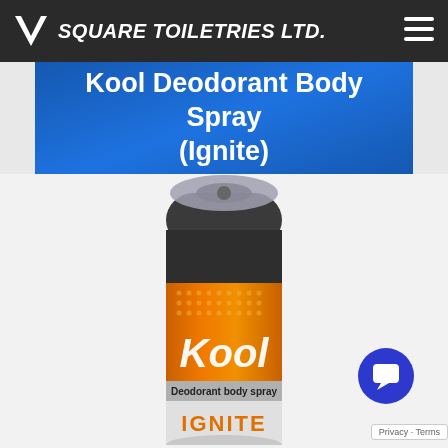SQUARE TOILETRIES LTD.
Kool Deodorant Body Spray (Ignite)
[Figure (photo): Kool Deodorant Body Spray can (Ignite variant) with orange label, dark top, showing brand name 'Kool', 'Deodorant body spray' and 'IGNITE' text]